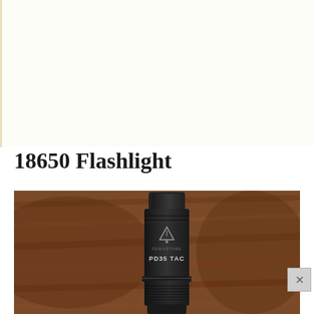18650 Flashlight
[Figure (photo): Close-up photograph of a black tactical flashlight labeled 'PD35 TAC' with a triangular logo, resting on a brown leather surface. The flashlight has a cylindrical body with knurled grip rings.]